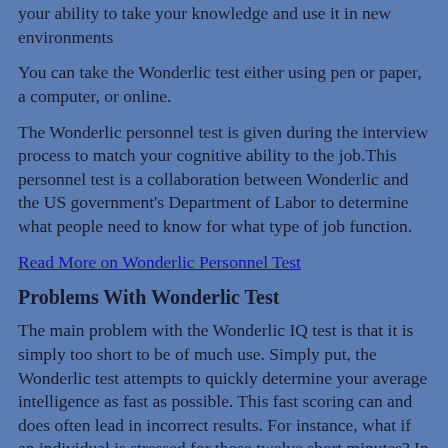your ability to take your knowledge and use it in new environments
You can take the Wonderlic test either using pen or paper, a computer, or online.
The Wonderlic personnel test is given during the interview process to match your cognitive ability to the job.This personnel test is a collaboration between Wonderlic and the US government's Department of Labor to determine what people need to know for what type of job function.
Read More on Wonderlic Personnel Test
Problems With Wonderlic Test
The main problem with the Wonderlic IQ test is that it is simply too short to be of much use. Simply put, the Wonderlic test attempts to quickly determine your average intelligence as fast as possible. This fast scoring can and does often lead in incorrect results. For instance, what if an individual is stressed for those twelve short minutes? In a normal IQ test, this is a small portion of the test taking time (most IQ tests are approximately 30 minutes to an hour long). The stress of being subjected to an IQ test on some people will result in a sort of mental block that typically lasts at least a few minutes. This condition is called test anxiety, and many